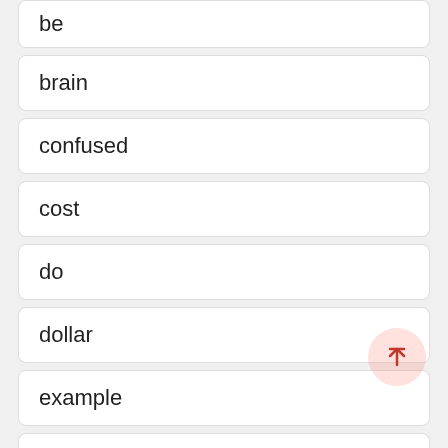be
brain
confused
cost
do
dollar
example
favorite